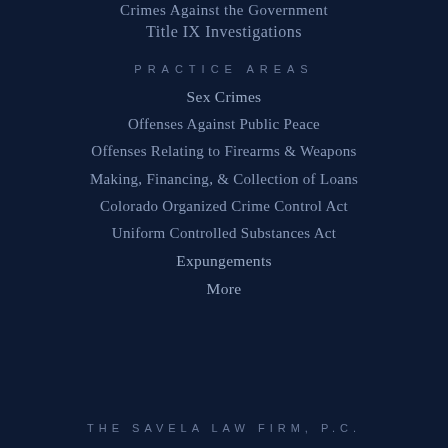Crimes Against the Government
Title IX Investigations
PRACTICE AREAS
Sex Crimes
Offenses Against Public Peace
Offenses Relating to Firearms & Weapons
Making, Financing, & Collection of Loans
Colorado Organized Crime Control Act
Uniform Controlled Substances Act
Expungements
More
THE SAVELA LAW FIRM, P.C.